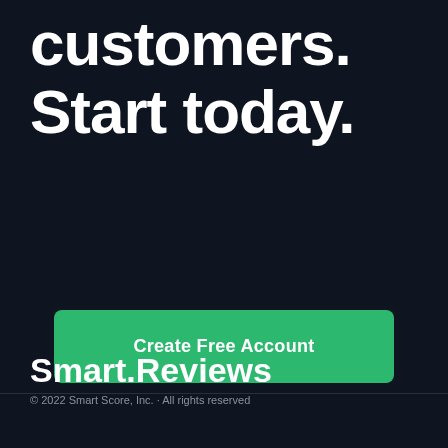customers. Start today.
Create Free Account
Smart.Reviews
© 2022 Smart Score, Inc. · All rights reserved